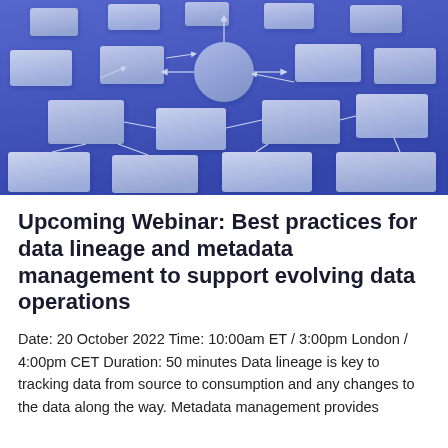[Figure (illustration): 3D rendered flowchart diagram showing interconnected rectangular boxes and a central circle on a blue background, connected by arrows representing data flow or process steps.]
Upcoming Webinar: Best practices for data lineage and metadata management to support evolving data operations
Date: 20 October 2022 Time: 10:00am ET / 3:00pm London / 4:00pm CET Duration: 50 minutes Data lineage is key to tracking data from source to consumption and any changes to the data along the way. Metadata management provides